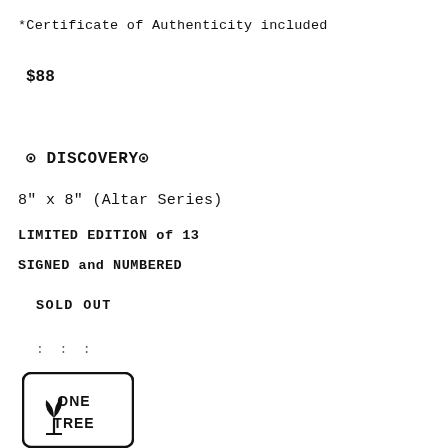*Certificate of Authenticity included
$88
⊙ DISCOVERY⊙
8" x 8" (Altar Series)
LIMITED EDITION of 13
SIGNED and NUMBERED
SOLD OUT
: : :
[Figure (logo): One Tree logo — a stylized plant/tree icon with 'ONE TREE' text, inside a rounded rectangle border]